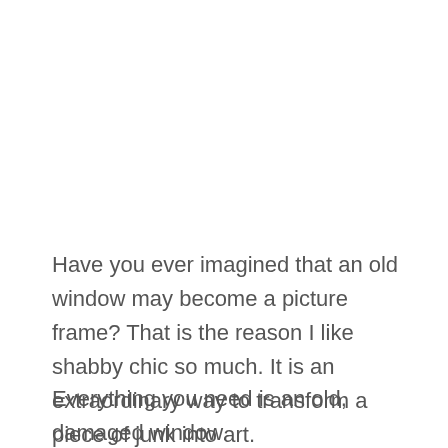Have you ever imagined that an old window may become a picture frame? That is the reason I like shabby chic so much. It is an extraordinary way to transform a piece of junk into art.
Everything you need is an old, damaged window. You can paint it and add your family photos instead of glass. It is so unexpected and unique.